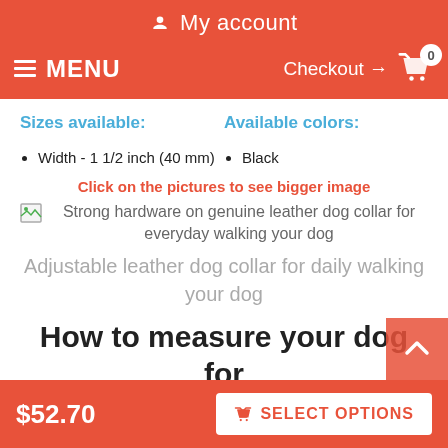My account
MENU  Checkout → 0
Sizes available:
Available colors:
Width - 1 1/2 inch (40 mm)
Black
Click on the pictures to see bigger image
Strong hardware on genuine leather dog collar for everyday walking your dog
Adjustable leather dog collar for daily walking your dog
How to measure your dog for good fit Collar:
$52.70  SELECT OPTIONS